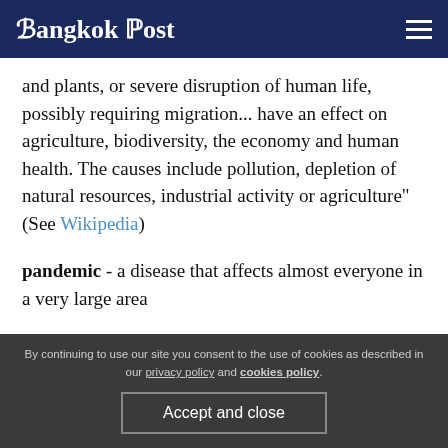Bangkok Post
and plants, or severe disruption of human life, possibly requiring migration... have an effect on agriculture, biodiversity, the economy and human health. The causes include pollution, depletion of natural resources, industrial activity or agriculture" (See Wikipedia)
pandemic - a disease that affects almost everyone in a very large area
By continuing to use our site you consent to the use of cookies as described in our privacy policy and cookies policy. Accept and close